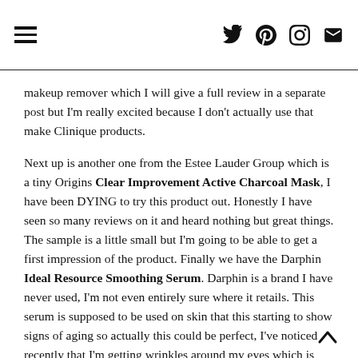[hamburger menu icon] [twitter icon] [pinterest icon] [instagram icon] [email icon]
makeup remover which I will give a full review in a separate post but I'm really excited because I don't actually use that make Clinique products.
Next up is another one from the Estee Lauder Group which is a tiny Origins Clear Improvement Active Charcoal Mask, I have been DYING to try this product out. Honestly I have seen so many reviews on it and heard nothing but great things. The sample is a little small but I'm going to be able to get a first impression of the product. Finally we have the Darphin Ideal Resource Smoothing Serum. Darphin is a brand I have never used, I'm not even entirely sure where it retails. This serum is supposed to be used on skin that this starting to show signs of aging so actually this could be perfect, I've noticed recently that I'm getting wrinkles around my eyes which is bloody devastating but let's give this cream a go to see if they can help the